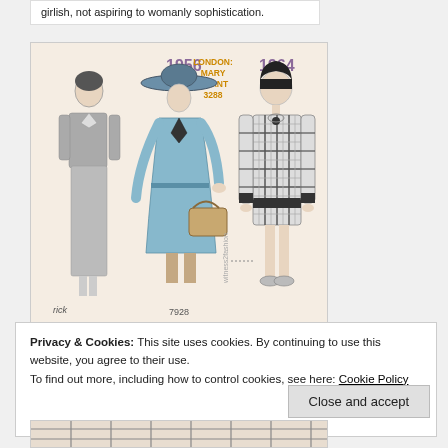girlish, not aspiring to womanly sophistication.
[Figure (illustration): Vintage fashion illustration showing two figures from 1956 in long skirts (one grey suit, one blue dress with hat and handbag, pattern number 7928) and one figure from 1964 in a short plaid shift dress (London: Mary Quant 3288). Watermark reads witness2fashion. Labels show years 1956 and 1964.]
Privacy & Cookies: This site uses cookies. By continuing to use this website, you agree to their use.
To find out more, including how to control cookies, see here: Cookie Policy
Close and accept